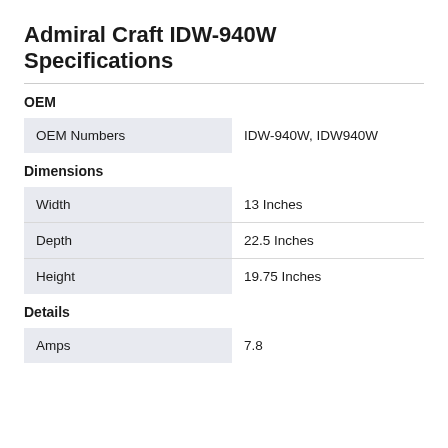Admiral Craft IDW-940W Specifications
OEM
| OEM Numbers |  |
| --- | --- |
| OEM Numbers | IDW-940W, IDW940W |
Dimensions
|  |  |
| --- | --- |
| Width | 13 Inches |
| Depth | 22.5 Inches |
| Height | 19.75 Inches |
Details
|  |  |
| --- | --- |
| Amps | 7.8 |